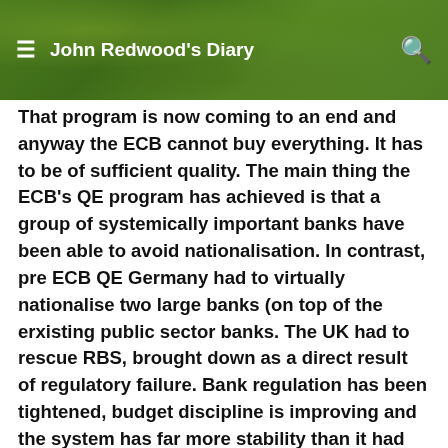John Redwood's Diary
That program is now coming to an end and anyway the ECB cannot buy everything. It has to be of sufficient quality. The main thing the ECB's QE program has achieved is that a group of systemically important banks have been able to avoid nationalisation. In contrast, pre ECB QE Germany had to virtually nationalise two large banks (on top of the erxisting public sector banks. The UK had to rescue RBS, brought down as a direct result of regulatory failure. Bank regulation has been tightened, budget discipline is improving and the system has far more stability than it had before. Club Med members are still complaining, but this is rhetoric: countries like Spain are on track to become more transparent, less closed to interntional investment and better at protecting business against corruption and cronyism. Italy will learn eventually and Lega could turn out to be a force for good, despite the